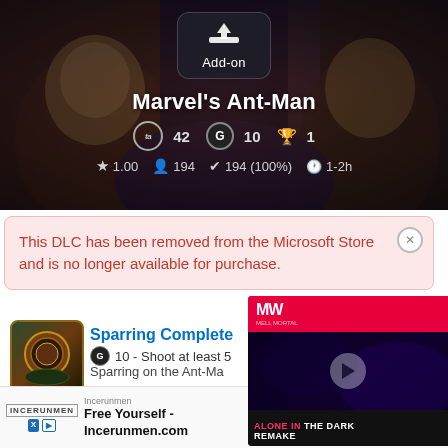[Figure (screenshot): Hero banner showing Marvel's Ant-Man add-on game page with dark fantasy background artwork featuring animated characters. Shows an Add-on download box icon, game title, achievement stats (ta 42, G 10, trophy 1), and rating stats (star 1.00, 194 owners, 194 (100%) completion, 1-2h time to complete).]
This DLC has been removed from the Microsoft Store and is no longer available for purchase.
Sparring Complete
G 10 - Shoot at least 5 [truncated] Sparring on the Ant-Ma[truncated]
2 guides
[Figure (screenshot): Video advertisement overlay showing MW (Mell Mortal) logo on red background, dark fantasy game scene with play button, and text 'ALONE IN THE DARK REMAKE']
Incerunmen
Free Yourself - Incerunmen.com
Shop Now